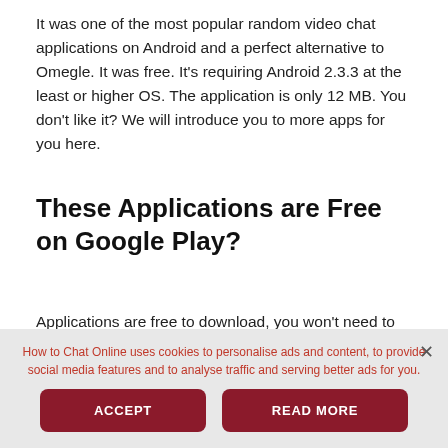It was one of the most popular random video chat applications on Android and a perfect alternative to Omegle. It was free. It's requiring Android 2.3.3 at the least or higher OS. The application is only 12 MB. You don't like it? We will introduce you to more apps for you here.
These Applications are Free on Google Play?
Applications are free to download, you won't need to pay for them. However, if you would like to use some of them fully, you will need to pay for them. Fo.
How to Chat Online uses cookies to personalise ads and content, to provide social media features and to analyse traffic and serving better ads for you.